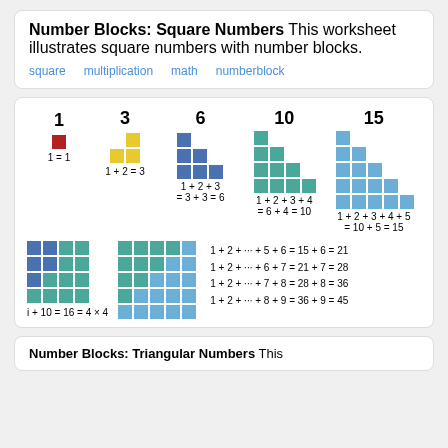Number Blocks: Square Numbers This worksheet illustrates square numbers with number blocks.
square
multiplication
math
numberblock
[Figure (illustration): Visual diagram showing triangular number blocks for 1, 3, 6, 10, 15 with colored block arrangements and equations, plus additional block grids and continuation equations.]
Number Blocks: Triangular Numbers This